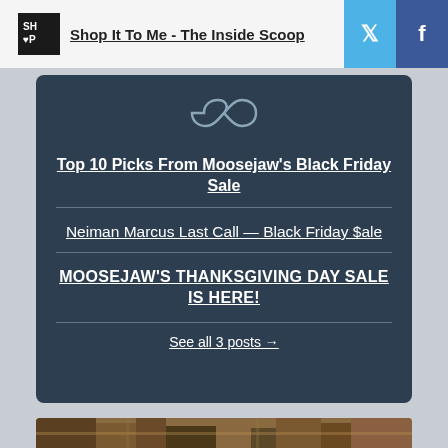Shop It To Me - The Inside Scoop
Top 10 Picks From Moosejaw's Black Friday Sale
Neiman Marcus Last Call — Black Friday $ale
MOOSEJAW'S THANKSGIVING DAY SALE IS HERE!
See all 3 posts →
[Figure (photo): Aerial view of city buildings and streets]